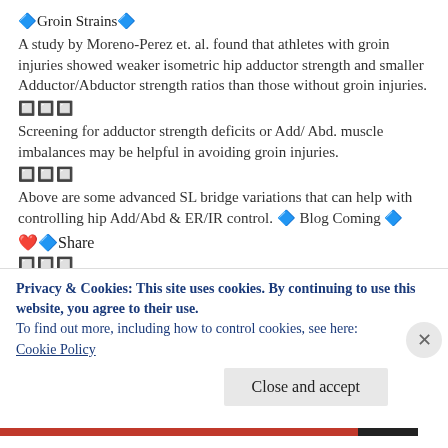🔷Groin Strains🔷
A study by Moreno-Perez et. al. found that athletes with groin injuries showed weaker isometric hip adductor strength and smaller Adductor/Abductor strength ratios than those without groin injuries.
🔲🔲🔲
Screening for adductor strength deficits or Add/ Abd. muscle imbalances may be helpful in avoiding groin injuries.
🔲🔲🔲
Above are some advanced SL bridge variations that can help with controlling hip Add/Abd & ER/IR control. 🔷 Blog Coming 🔷
❤️🔷Share
🔲🔲🔲
Moreno-Pérez et al. Comparisons of hip strength and
Privacy & Cookies: This site uses cookies. By continuing to use this website, you agree to their use.
To find out more, including how to control cookies, see here:
Cookie Policy
Close and accept